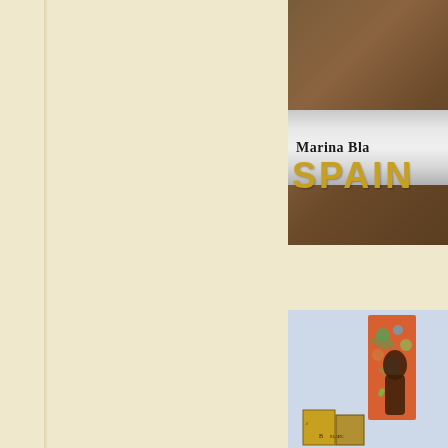[Figure (photo): Left panel: cream/beige textured background resembling a book binding or page, with a subtle vertical shadow line near the left edge suggesting a book spine or gutter.]
[Figure (photo): Top right: Partial view of a book cover with dark brown/chocolate background at top, a silver/grey metallic band containing the author name 'Marina Bla...' (partially cropped), and large gold lettered text 'SPAIN' (partially cropped).]
Marina Bla
SPAIN
[Figure (photo): Bottom right: Partial view of a book or illustration on a light blue/grey background showing an ornate book spine with floral pattern in orange/red with blue and green flowers, a dark figure, and at the bottom some smaller books with text including letters resembling 'h', 'B', 'BLANG' visible.]